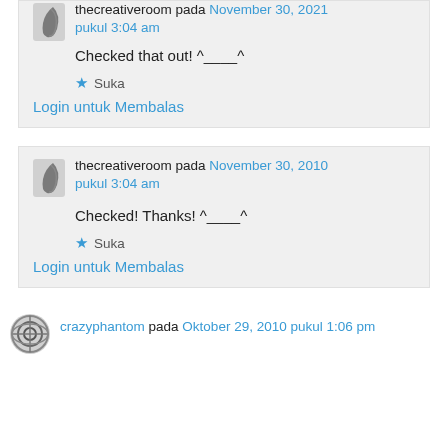Checked that out! ^____^
★ Suka
Login untuk Membalas
thecreativeroom pada November 30, 2010 pukul 3:04 am
Checked! Thanks! ^____^
★ Suka
Login untuk Membalas
crazyphantom pada Oktober 29, 2010 pukul 1:06 pm